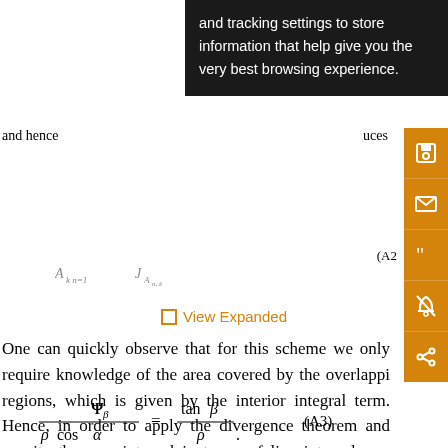[Figure (screenshot): Black tooltip overlay with text: 'and tracking settings to store information that help give you the very best browsing experience.']
(A1)
and hence
uces
(A2
View Expanded
One can quickly observe that for this scheme we only require knowledge of the area covered by the overlapping regions, which is given by the interior integral term. Hence, in order to apply the divergence theorem and rewrite the area integral in terms of line integrals we require knowledge of the potential Ψ^{(0,0)} associated with the constant field φ = 1. A simple calculation using (11) gives
(A3)